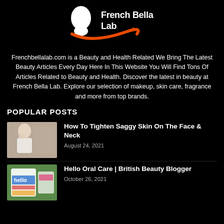[Figure (logo): French Bella Lab logo with white face silhouette and orange swirl on black background]
Frenchbellalab.com is a Beauty and Health Related We Bring The Latest Beauty Articles Every Day Here In This Website You Will Find Tons Of Articles Related to Beauty and Health. Discover the latest in beauty at French Bella Lab. Explore our selection of makeup, skin care, fragrance and more from top brands.
POPULAR POSTS
[Figure (photo): Woman with blonde hair touching her face/head, wearing white robe]
How To Tighten Saggy Skin On The Face & Neck
August 24, 2021
[Figure (photo): Hello oral care product packaging with colorful design on green background]
Hello Oral Care | British Beauty Blogger
October 26, 2021